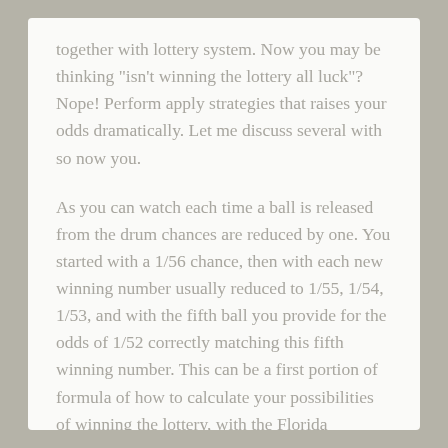together with lottery system. Now you may be thinking "isn't winning the lottery all luck"? Nope! Perform apply strategies that raises your odds dramatically. Let me discuss several with so now you.
As you can watch each time a ball is released from the drum chances are reduced by one. You started with a 1/56 chance, then with each new winning number usually reduced to 1/55, 1/54, 1/53, and with the fifth ball you provide for the odds of 1/52 correctly matching this fifth winning number. This can be a first portion of formula of how to calculate your possibilities of winning the lottery, with the Florida Sweepstakes.
Obviously, the a customer spends on his